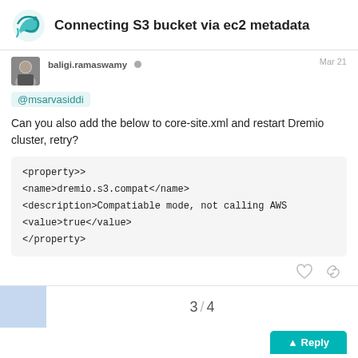Connecting S3 bucket via ec2 metadata
baligi.ramaswamy · Mar 21
@msarvasiddi
Can you also add the below to core-site.xml and restart Dremio cluster, retry?
<property>>
<name>dremio.s3.compat</name>
<description>Compatiable mode, not calling AWS
<value>true</value>
</property>
3 / 4
Reply